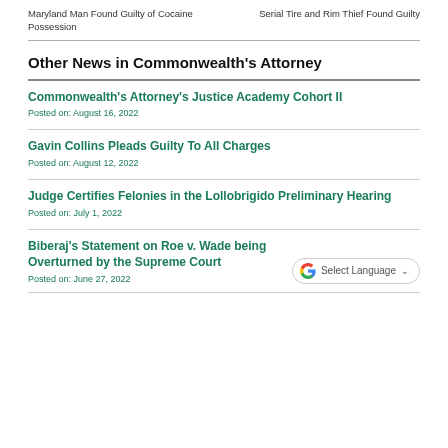Maryland Man Found Guilty of Cocaine Possession
Serial Tire and Rim Thief Found Guilty
Other News in Commonwealth's Attorney
Commonwealth's Attorney's Justice Academy Cohort II
Posted on: August 16, 2022
Gavin Collins Pleads Guilty To All Charges
Posted on: August 12, 2022
Judge Certifies Felonies in the Lollobrigido Preliminary Hearing
Posted on: July 1, 2022
Biberaj's Statement on Roe v. Wade being Overturned by the Supreme Court
Posted on: June 27, 2022